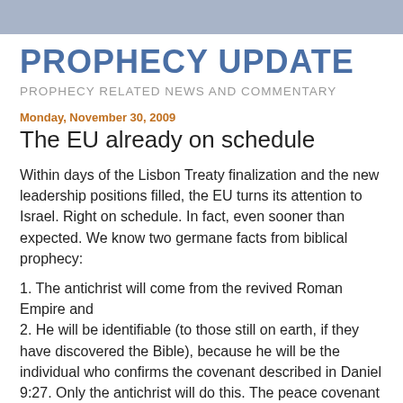PROPHECY UPDATE
PROPHECY RELATED NEWS AND COMMENTARY
Monday, November 30, 2009
The EU already on schedule
Within days of the Lisbon Treaty finalization and the new leadership positions filled, the EU turns its attention to Israel. Right on schedule. In fact, even sooner than expected. We know two germane facts from biblical prophecy:
1. The antichrist will come from the revived Roman Empire and
2. He will be identifiable (to those still on earth, if they have discovered the Bible), because he will be the individual who confirms the covenant described in Daniel 9:27. Only the antichrist will do this. The peace covenant he "confirms" is considered as the long awaited peace deal between Israel